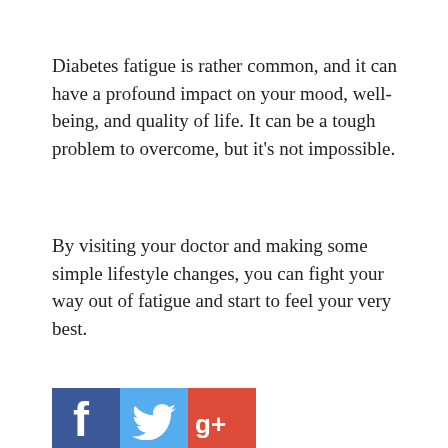Diabetes fatigue is rather common, and it can have a profound impact on your mood, well-being, and quality of life. It can be a tough problem to overcome, but it's not impossible.
By visiting your doctor and making some simple lifestyle changes, you can fight your way out of fatigue and start to feel your very best.
[Figure (other): Social media share buttons: Facebook (blue), Twitter (light blue), Google+ (red)]
PUBLISHED BY
Chelsea Panzrella
Chelsea is a Certified Personal Trainer and